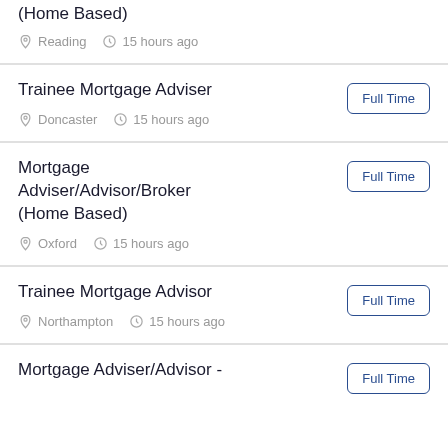(Home Based)
Reading  15 hours ago
Trainee Mortgage Adviser
Full Time
Doncaster  15 hours ago
Mortgage Adviser/Advisor/Broker (Home Based)
Full Time
Oxford  15 hours ago
Trainee Mortgage Advisor
Full Time
Northampton  15 hours ago
Mortgage Adviser/Advisor -
Full Time